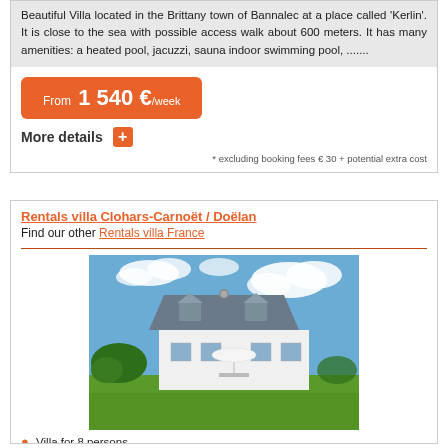Beautiful Villa located in the Brittany town of Bannalec at a place called 'Kerlin'. It is close to the sea with possible access walk about 600 meters. It has many amenities: a heated pool, jacuzzi, sauna indoor swimming pool, .......
From  1 540 €/week
More details
* excluding booking fees € 30 + potential extra cost
Rentals villa Clohars-Carnoët / Doëlan
Find our other Rentals villa France
[Figure (photo): Photo of a white Breton villa with grey slate roof, dormer windows, garden umbrella on terrace, green lawn in foreground, blue sky with clouds in background.]
Villa for 8 persons